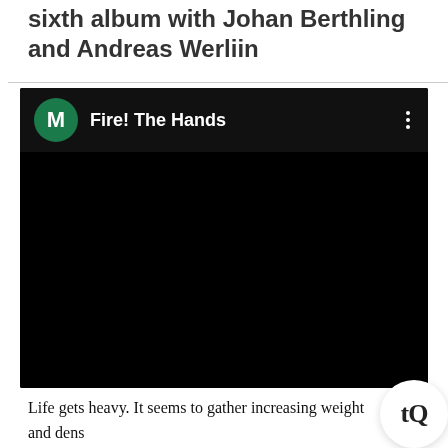sixth album with Johan Berthling and Andreas Werliin
[Figure (screenshot): Embedded video player with black background. Top bar shows a green circular avatar with letter M, text 'Fire! The Hands', and a three-dot menu icon on the right.]
Life gets heavy. It seems to gather increasing weight and dens you progress through it until you either reach a point where you